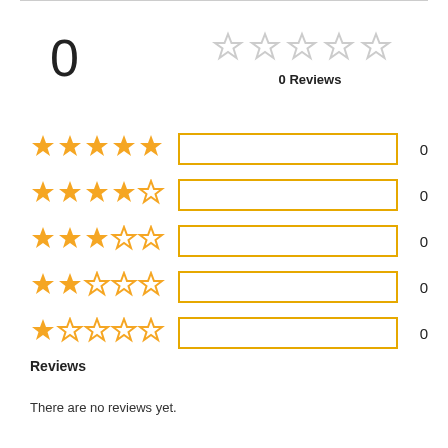0
[Figure (infographic): 5 empty star rating icons in a row (gray outlines)]
0 Reviews
[Figure (infographic): Rating breakdown: 5 rows each with star icons (5-star to 1-star), an empty yellow-bordered bar, and count of 0]
Reviews
There are no reviews yet.